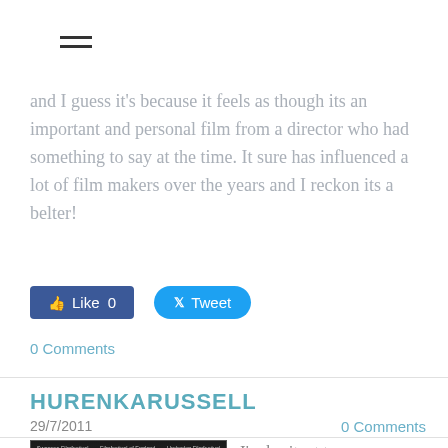[Figure (other): Hamburger menu icon (three horizontal lines)]
and I guess it's because it feels as though its an important and personal film from a director who had something to say at the time. It sure has influenced a lot of film makers over the years and I reckon its a belter!
[Figure (other): Facebook Like button showing 'Like 0' and Twitter Tweet button]
0 Comments
HURENKARUSSELL
29/7/2011
0 Comments
[Figure (photo): Film festival banner showing Swansea Filmfestival, Filmfestival of England, Underdog Filmfestival text over a dark background image]
I'm hesitant to